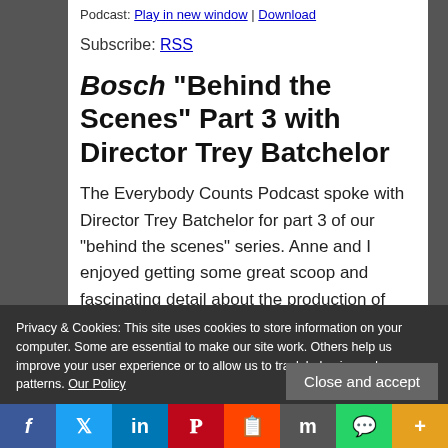Podcast: Play in new window | Download
Subscribe: RSS
Bosch “Behind the Scenes” Part 3 with Director Trey Batchelor
The Everybody Counts Podcast spoke with Director Trey Batchelor for part 3 of our “behind the scenes” series. Anne and I enjoyed getting some great scoop and fascinating detail about the production of episode 5 ‘Money, Honey’.
Privacy & Cookies: This site uses cookies to store information on your computer. Some are essential to make our site work. Others help us improve your user experience or to allow us to track behavior and user patterns. Our Policy
Close and accept